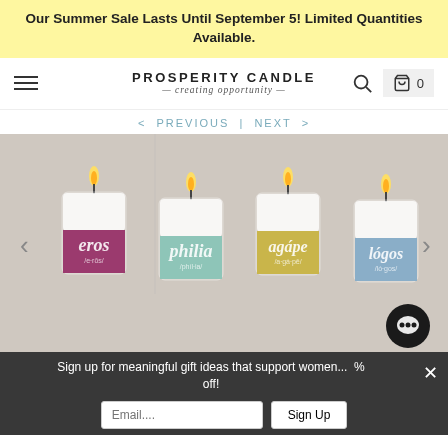Our Summer Sale Lasts Until September 5! Limited Quantities Available.
[Figure (logo): Prosperity Candle logo with text 'PROSPERITY CANDLE' and subtitle '— creating opportunity —']
< PREVIOUS | NEXT >
[Figure (photo): Four scented candles in glass jars with colored labels: rose/pink (eros), mint/teal (philia), yellow (agape), and blue (logos), displayed side by side on a light surface]
Sign up for meaningful gift ideas that support women... % off!